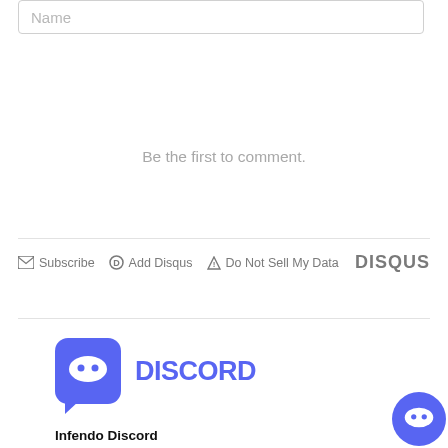Name
Be the first to comment.
Subscribe  Add Disqus  Do Not Sell My Data  DISQUS
[Figure (logo): Discord logo with blue box icon and 'DISCORD' wordmark, plus 'Infendo Discord' label below]
[Figure (logo): Discord floating action button (blue circle with Discord controller icon)]